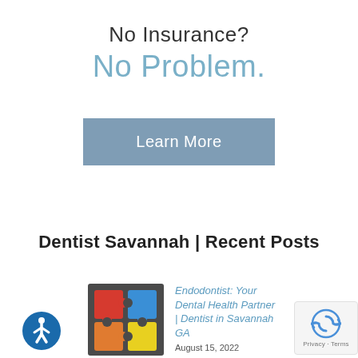No Insurance?
No Problem.
Learn More
Dentist Savannah | Recent Posts
[Figure (illustration): Puzzle pieces icon — four interlocking puzzle pieces in red, blue, orange, and yellow on a dark gray background]
Endodontist: Your Dental Health Partner | Dentist in Savannah GA
August 15, 2022
[Figure (logo): Accessibility icon: blue circle with white wheelchair-accessible person symbol]
[Figure (logo): Google reCAPTCHA badge with Privacy · Terms text]